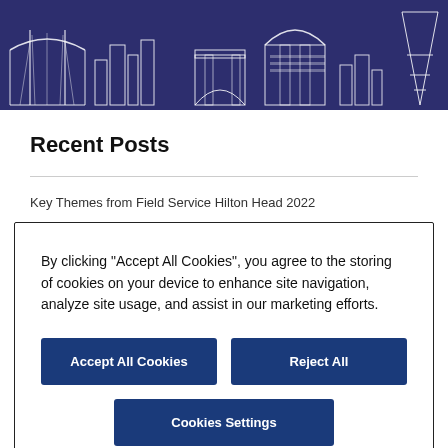[Figure (illustration): Dark navy blue banner with white line-art illustrations of famous world landmarks including the Golden Gate Bridge, Eiffel Tower, Arc de Triomphe, and other city skyline buildings.]
Recent Posts
Key Themes from Field Service Hilton Head 2022
By clicking “Accept All Cookies”, you agree to the storing of cookies on your device to enhance site navigation, analyze site usage, and assist in our marketing efforts.
Accept All Cookies
Reject All
Cookies Settings